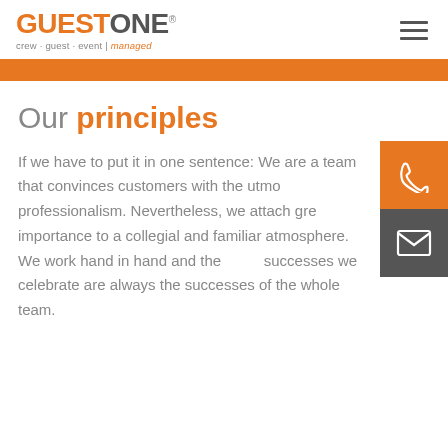[Figure (logo): GuestOne logo with tagline 'crew · guest · event | managed']
Our principles
If we have to put it in one sentence: We are a team that convinces customers with the utmost professionalism. Nevertheless, we attach great importance to a collegial and familiar atmosphere. We work hand in hand and the successes we celebrate are always the successes of the whole team.